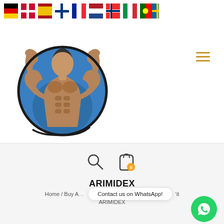[Figure (illustration): Row of country flag emoji icons: Germany, Denmark, Spain, Finland, France, Netherlands, Norway, Italy, Portugal, Sweden]
[Figure (illustration): Hamburger menu icon with three horizontal golden/yellow lines]
[Figure (logo): Bodybuilder logo: muscular man flexing arms, dark outline, brown skin tones, blue circular background]
[Figure (illustration): Search icon (magnifying glass) and shopping bag icon with yellow badge showing 0]
ARIMIDEX
Home / Buy A... Contact us on WhatsApp! 'it ARIMIDEX